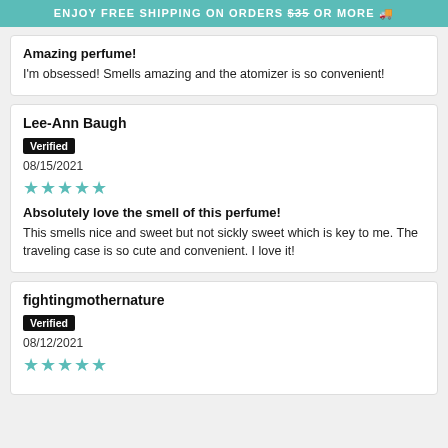ENJOY FREE SHIPPING ON ORDERS $35 OR MORE 🚚
Amazing perfume!
I'm obsessed! Smells amazing and the atomizer is so convenient!
Lee-Ann Baugh
Verified
08/15/2021
★★★★★
Absolutely love the smell of this perfume!
This smells nice and sweet but not sickly sweet which is key to me. The traveling case is so cute and convenient. I love it!
fightingmothernature
Verified
08/12/2021
★★★★★